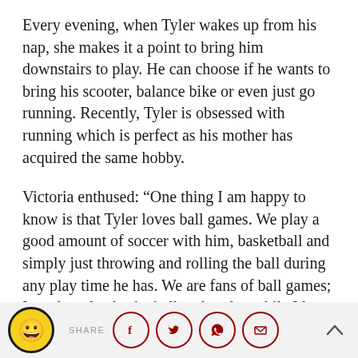Every evening, when Tyler wakes up from his nap, she makes it a point to bring him downstairs to play. He can choose if he wants to bring his scooter, balance bike or even just go running. Recently, Tyler is obsessed with running which is perfect as his mother has acquired the same hobby.
Victoria enthused: “One thing I am happy to know is that Tyler loves ball games. We play a good amount of soccer with him, basketball and simply just throwing and rolling the ball during any play time he has. We are fans of ball games; I used to play basketball and rugby, while I love captain’s ball and volleyball too. My husband plays soccer really well too and we love sharing our love for
SHARE